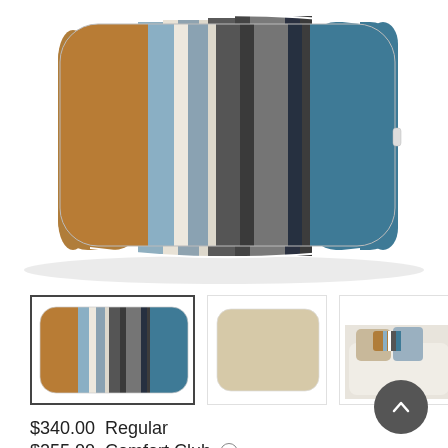[Figure (photo): Large decorative lumbar pillow with vertical stripes in brown/tan, light blue, cream/white, dark gray/charcoal, and teal/blue tones, photographed from above on a white background.]
[Figure (photo): Thumbnail 1 (active/selected): Same striped lumbar pillow showing front view with brown, blue-gray, cream, dark charcoal and teal stripes.]
[Figure (photo): Thumbnail 2: Back or reverse side of the pillow, showing solid beige/cream color.]
[Figure (photo): Thumbnail 3: Lifestyle photo showing multiple pillows including the striped pillow arranged on a white sofa.]
$340.00  Regular
$255.00  Comfort Club ⓘ